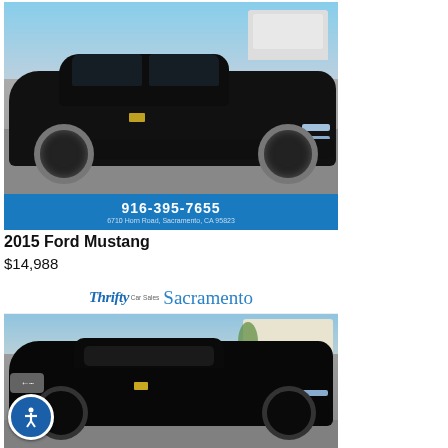[Figure (photo): Black 2015 Ford Mustang coupe photographed at a dealership lot from a front 3/4 angle. Car has chrome aftermarket wheels.]
916-395-7655
6710 Horn Road, Sacramento, CA 95823
2015 Ford Mustang
$14,988
[Figure (photo): Thrifty Car Sales Sacramento banner header, followed by a black Ford Mustang convertible photographed at a dealership lot from a front 3/4 angle. Car has black wheels.]
Thrifty Car Sales Sacramento